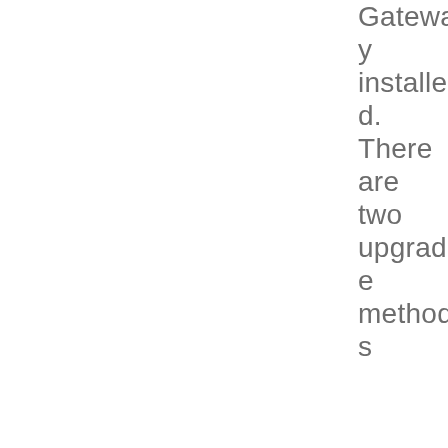Gateway installed. There are two upgrade methods